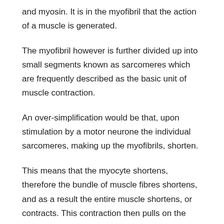and myosin. It is in the myofibril that the action of a muscle is generated.
The myofibril however is further divided up into small segments known as sarcomeres which are frequently described as the basic unit of muscle contraction.
An over-simplification would be that, upon stimulation by a motor neurone the individual sarcomeres, making up the myofibrils, shorten.
This means that the myocyte shortens, therefore the bundle of muscle fibres shortens, and as a result the entire muscle shortens, or contracts. This contraction then pulls on the ligament and as a result, the bone moves around the joint.